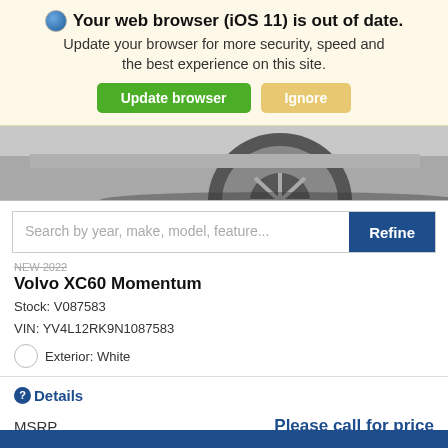Your web browser (iOS 11) is out of date. Update your browser for more security, speed and the best experience on this site. Update browser | Ignore
[Figure (photo): Partial view of a Volvo car wheel and lower body in grayscale]
Search by year, make, model, feature...   Refine
Volvo XC60 Momentum
Stock: V087583
VIN: YV4L12RK9N1087583
Exterior: White
Details
MSRP   Please call for price